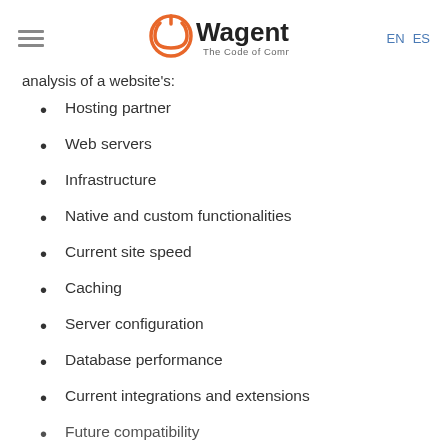Wagento — The Code of Commerce | EN ES
analysis of a website's:
Hosting partner
Web servers
Infrastructure
Native and custom functionalities
Current site speed
Caching
Server configuration
Database performance
Current integrations and extensions
Future compatibility